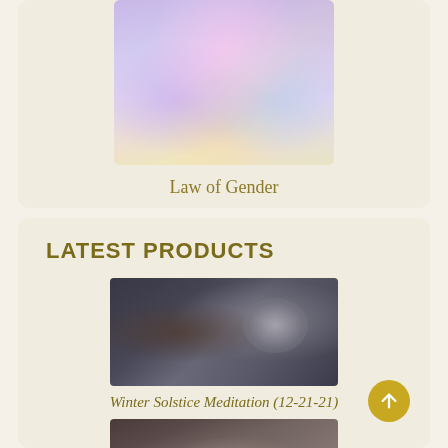[Figure (illustration): Colorful spiritual/metaphysical artwork with pastel purples, pinks, yellows and blues suggesting angelic or cosmic imagery]
Law of Gender
LATEST PRODUCTS
[Figure (photo): Dark photo of a person holding or near a large singing bowl, with bokeh lights in background]
Winter Solstice Meditation (12-21-21)
[Figure (photo): Photo of a woman with dark hair, appears to be seated, spiritual/meditation context]
Elohim Solar Goddess